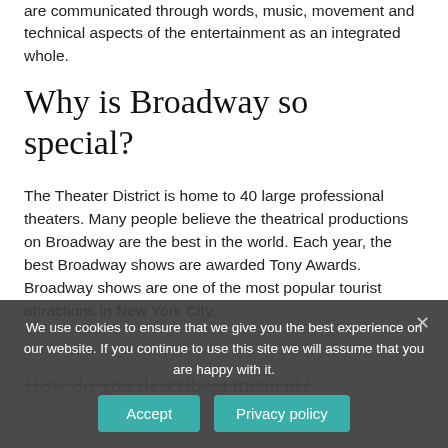are communicated through words, music, movement and technical aspects of the entertainment as an integrated whole.
Why is Broadway so special?
The Theater District is home to 40 large professional theaters. Many people believe the theatrical productions on Broadway are the best in the world. Each year, the best Broadway shows are awarded Tony Awards. Broadway shows are one of the most popular tourist attractions in New York City.
How do you describe a musical?
We use cookies to ensure that we give you the best experience on our website. If you continue to use this site we will assume that you are happy with it.